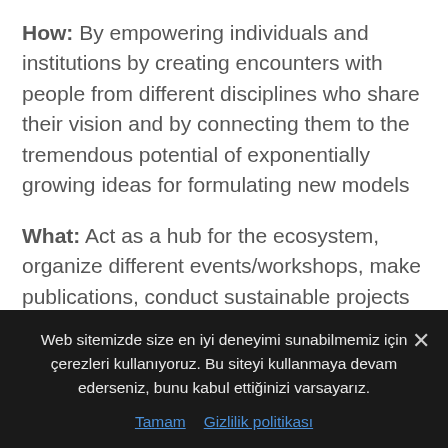How: By empowering individuals and institutions by creating encounters with people from different disciplines who share their vision and by connecting them to the tremendous potential of exponentially growing ideas for formulating new models
What: Act as a hub for the ecosystem, organize different events/workshops, make publications, conduct sustainable projects spinned off from BN team or support vertical projects jumpstarted outside of BN strategically and create synergy between different stakeholders such
Web sitemizde size en iyi deneyimi sunabilmemiz için çerezleri kullanıyoruz. Bu siteyi kullanmaya devam ederseniz, bunu kabul ettiğinizi varsayarız.
Tamam   Gizlilik politikası